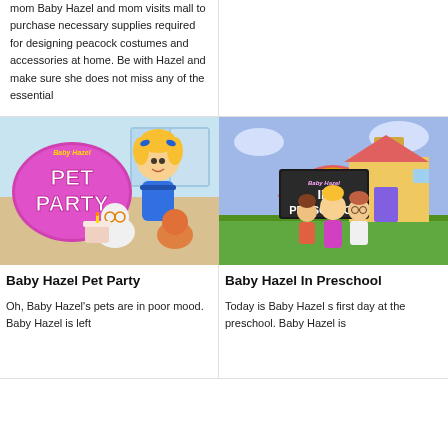mom Baby Hazel and mom visits mall to purchase necessary supplies required for designing peacock costumes and accessories at home. Be with Hazel and make sure she does not miss any of the essential
[Figure (illustration): Baby Hazel Pet Party game cover showing a cartoon blonde girl in a blue dress with cats and a cake, purple 'PET PARTY' text on pink oval]
Baby Hazel Pet Party
[Figure (illustration): Baby Hazel In Preschool game cover showing three cartoon children outside a school building with a blackboard sign saying 'IN PRESCHOOL']
Baby Hazel In Preschool
Oh, Baby Hazel's pets are in poor mood. Baby Hazel is left
Today is Baby Hazel s first day at the preschool. Baby Hazel is